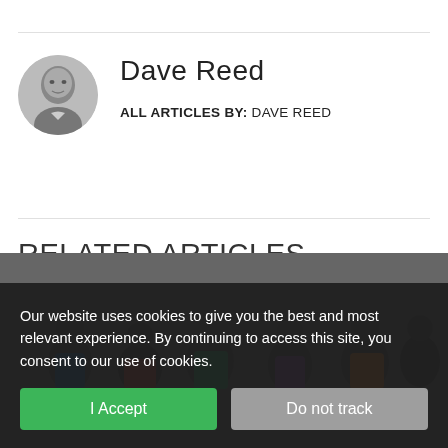[Figure (photo): Author headshot of Dave Reed, a grayscale portrait photo of a middle-aged man smiling.]
Dave Reed
ALL ARTICLES BY: DAVE REED
RELATED ARTICLES
How technology is changing the way speakers get booked
Our website uses cookies to give you the best and most relevant experience. By continuing to access this site, you consent to our use of cookies.